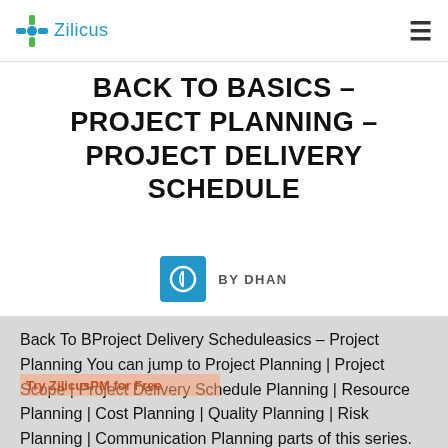Zilicus
BACK TO BASICS – PROJECT PLANNING – PROJECT DELIVERY SCHEDULE
BY DHAN
Back To BProject Delivery Scheduleasics – Project Planning You can jump to Project Planning | Project Scope | Project Delivery Schedule Planning | Resource Planning | Cost Planning | Quality Planning | Risk Planning | Communication Planning parts of this series. Delivery Schedule Planning Once project scope is